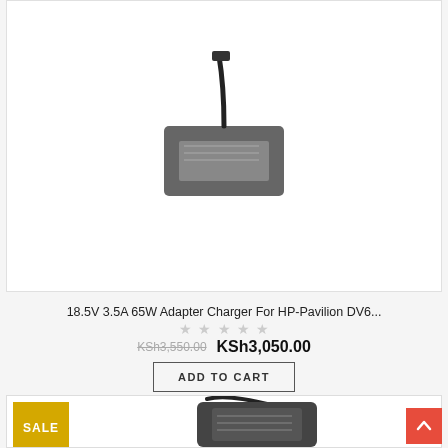[Figure (photo): Top portion of a product card showing a black laptop charger/adapter with cable against white background]
18.5V 3.5A 65W Adapter Charger For HP-Pavilion DV6...
★★★★★ (empty stars rating)
KSh3,550.00  KSh3,050.00
ADD TO CART
[Figure (photo): Second product card with SALE badge showing a black laptop power adapter/charger brick with cable]